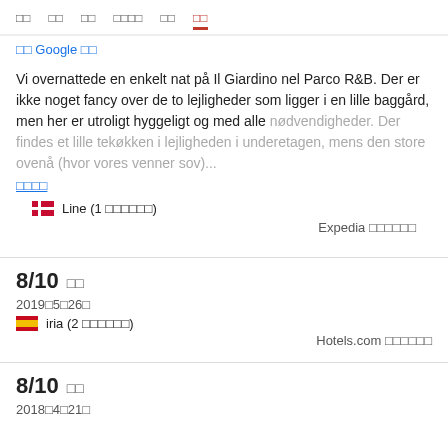□□  □□  □□  □□□□  □□  □□
□□ Google □□
Vi overnattede en enkelt nat på Il Giardino nel Parco R&B. Der er ikke noget fancy over de to lejligheder som ligger i en lille baggård, men her er utroligt hyggeligt og med alle nødvendigheder. Der findes et lille tekøkken i lejligheden i underetagen, mens den store ovenå (hvor vores venner sov)...
□□□□
Line (1 □□□□□□)
Expedia □□□□□□
8/10 □□
2019□5□26□
iria (2 □□□□□□)
Hotels.com □□□□□□
8/10 □□
2018□4□21□